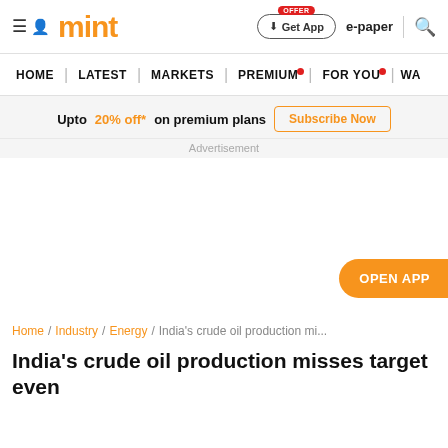mint
Upto 20% off* on premium plans  Subscribe Now
Advertisement
OPEN APP
Home / Industry / Energy / India's crude oil production mi...
India's crude oil production misses target even